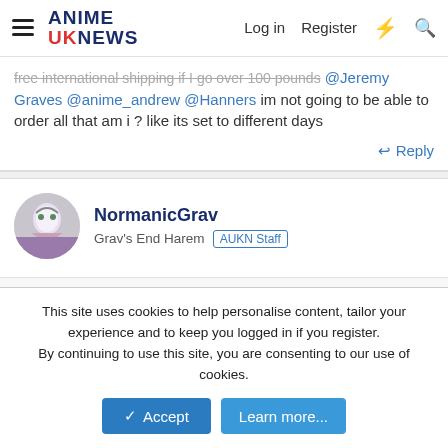ANIME UKNEWS — Log in  Register
free international shipping if I go over 100 pounds @Jeremy Graves @anime_andrew @Hanners im not going to be able to order all that am i ? like its set to different days
Reply
NormanicGrav
Grav's End Harem  AUKN Staff
26 November 2020  #54
mikezilla2 said:
im not going to be able to order all that am i ? like its set to different days
This site uses cookies to help personalise content, tailor your experience and to keep you logged in if you register.
By continuing to use this site, you are consenting to our use of cookies.
Accept  Learn more...